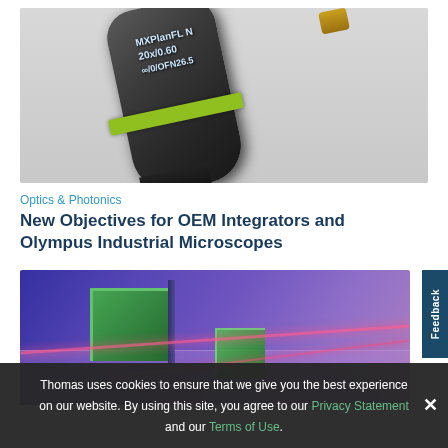[Figure (photo): Close-up photo of a dark cylindrical microscope objective lens labeled 'MXPlanFL N 20x/0.60 ∞/0/OFN26.5' with a green ring around it, against a light gray background]
Optics & Photonics
New Objectives for OEM Integrators and Olympus Industrial Microscopes
[Figure (photo): Photo of green glass optical prism cubes and a glass plate on a reflective purple/violet surface with pink laser beams]
Thomas uses cookies to ensure that we give you the best experience on our website. By using this site, you agree to our Privacy Statement and our Terms of Use.